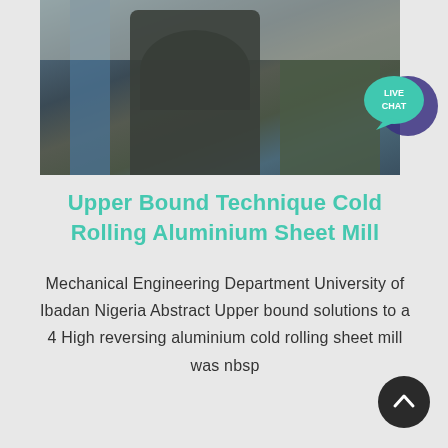[Figure (photo): Industrial aluminium cold rolling sheet mill machinery, showing large cylindrical metal structures and industrial equipment against an overcast sky]
Upper Bound Technique Cold Rolling Aluminium Sheet Mill
Mechanical Engineering Department University of Ibadan Nigeria Abstract Upper bound solutions to a 4 High reversing aluminium cold rolling sheet mill was nbsp